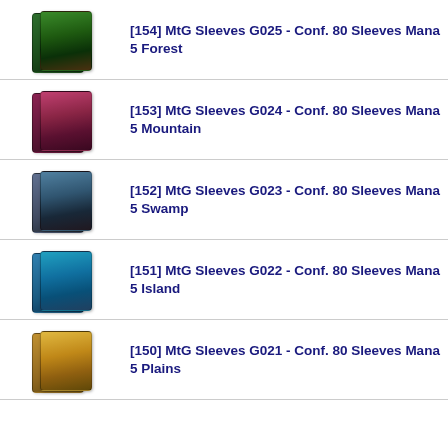[154] MtG Sleeves G025 - Conf. 80 Sleeves Mana 5 Forest
[153] MtG Sleeves G024 - Conf. 80 Sleeves Mana 5 Mountain
[152] MtG Sleeves G023 - Conf. 80 Sleeves Mana 5 Swamp
[151] MtG Sleeves G022 - Conf. 80 Sleeves Mana 5 Island
[150] MtG Sleeves G021 - Conf. 80 Sleeves Mana 5 Plains